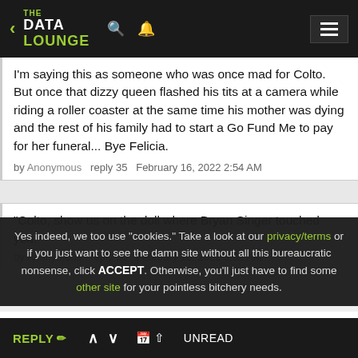THE DATA LOUNGE
I'm saying this as someone who was once mad for Colto. But once that dizzy queen flashed his tits at a camera while riding a roller coaster at the same time his mother was dying and the rest of his family had to start a Go Fund Me to pay for her funeral... Bye Felicia.
by Anonymous   reply 35   February 16, 2022 2:54 AM
“Colto, show us on the doll where Bryan Singer touched you.”
by Anonymous   reply 36   February 16, 2022 3:02 AM
Yes indeed, we too use "cookies." Take a look at our privacy/terms or if you just want to see the damn site without all this bureaucratic nonsense, click ACCEPT. Otherwise, you'll just have to find some other site for your pointless bitchery needs.
I can think of several gentlemen name Chris who fit
REPLY  ∧  ∨  UNREAD